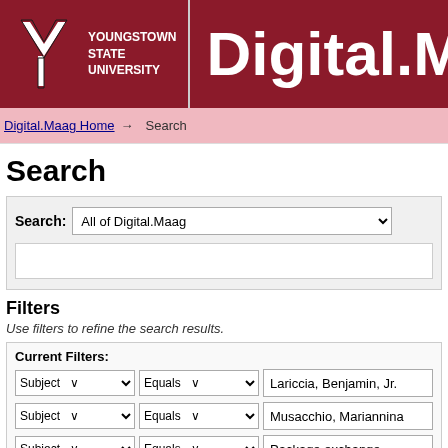[Figure (logo): Youngstown State University logo with Y symbol and text, alongside Digital.Maag title on dark red background]
Digital.Maag Home → Search
Search
Search: All of Digital.Maag
Filters
Use filters to refine the search results.
Current Filters:
Subject Equals Lariccia, Benjamin, Jr.
Subject Equals Musacchio, Mariannina
Subject Equals Package exchange
Subject Equals Musacchio, Rita
Subject Equals Musacchio, Lina